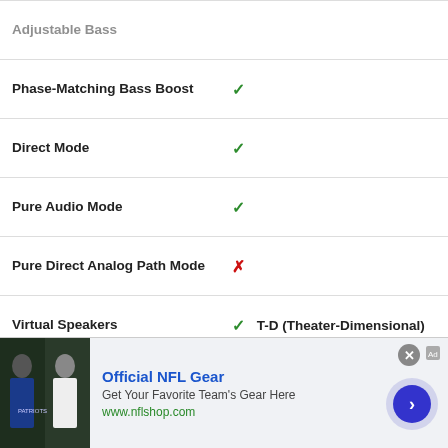| Feature | Value |
| --- | --- |
| Phase-Matching Bass Boost | ✓ |
| Direct Mode | ✓ |
| Pure Audio Mode | ✓ |
| Pure Direct Analog Path Mode | ✗ |
| Virtual Speakers | ✓ T-D (Theater-Dimensional) |
CALIBRATION
| Feature | Value |
| --- | --- |
| Auto Speaker Calibration System with Mic. | ✓ AccuEQ with AccuReflex™ |
[Figure (infographic): Advertisement banner for Official NFL Gear from nflshop.com with image of people in NFL jerseys, a forward arrow button, and a close button.]